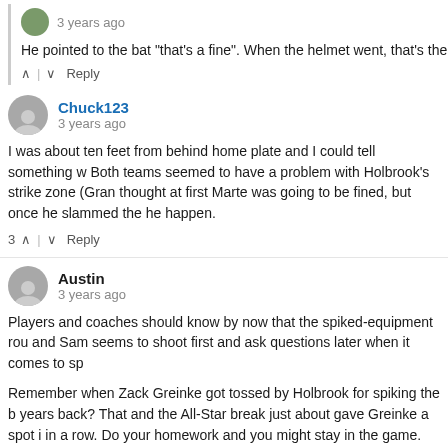He pointed to the bat "that's a fine". When the helmet went, that's the
∧ | ∨  Reply
Chuck123
3 years ago
I was about ten feet from behind home plate and I could tell something w Both teams seemed to have a problem with Holbrook's strike zone (Gran thought at first Marte was going to be fined, but once he slammed the he happen.
3 ∧ | ∨  Reply
Austin
3 years ago
Players and coaches should know by now that the spiked-equipment rou and Sam seems to shoot first and ask questions later when it comes to sp
Remember when Zack Greinke got tossed by Holbrook for spiking the b years back? That and the All-Star break just about gave Greinke a spot i in a row. Do your homework and you might stay in the game.
1 ∧ | ∨  Reply